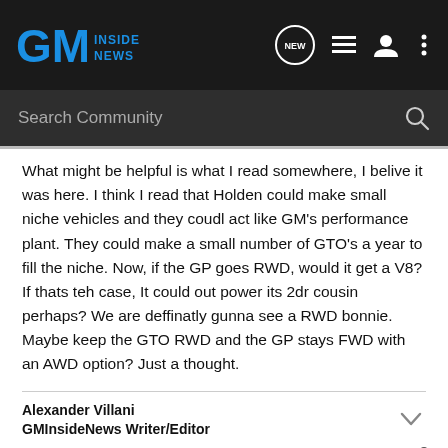GM Inside News
What might be helpful is what I read somewhere, I belive it was here. I think I read that Holden could make small niche vehicles and they coudl act like GM's performance plant. They could make a small number of GTO’s a year to fill the niche. Now, if the GP goes RWD, would it get a V8? If thats teh case, It could out power its 2dr cousin perhaps? We are deffinatly gunna see a RWD bonnie. Maybe keep the GTO RWD and the GP stays FWD with an AWD option? Just a thought.
Alexander Villani
GMInsideNews Writer/Editor